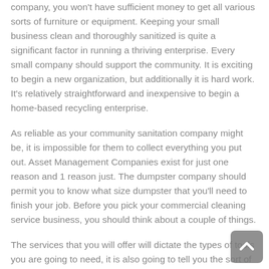company, you won't have sufficient money to get all various sorts of furniture or equipment. Keeping your small business clean and thoroughly sanitized is quite a significant factor in running a thriving enterprise. Every small company should support the community. It is exciting to begin a new organization, but additionally it is hard work. It's relatively straightforward and inexpensive to begin a home-based recycling enterprise.
As reliable as your community sanitation company might be, it is impossible for them to collect everything you put out. Asset Management Companies exist for just one reason and 1 reason just. The dumpster company should permit you to know what size dumpster that you'll need to finish your job. Before you pick your commercial cleaning service business, you should think about a couple of things.
The services that you will offer will dictate the types of tools you are going to need, it is also going to tell you the sort of people that you will hire. You're offering a service for a reasonable price while at the same time earning some income on the things that you are